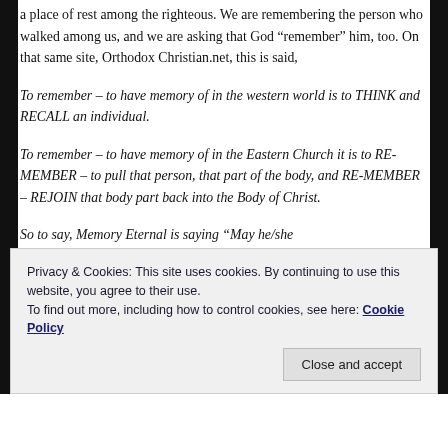...we are asking for a place among all the Saints, a place of rest among the righteous. We are remembering the person who walked among us, and we are asking that God “remember” him, too. On that same site, OrthodoxChristian.net, this is said,
To remember – to have memory of in the western world is to THINK and RECALL an individual.
To remember – to have memory of in the Eastern Church it is to RE-MEMBER – to pull that person, that part of the body, and RE-MEMBER – REJOIN that body part back into the Body of Christ.
So to say, Memory Eternal is saying “May he/she
Privacy & Cookies: This site uses cookies. By continuing to use this website, you agree to their use.
To find out more, including how to control cookies, see here: Cookie Policy